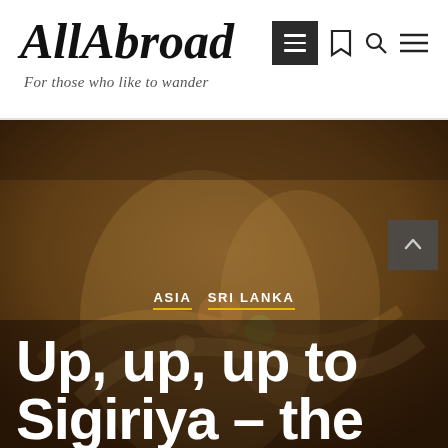AllAbroad
For those who like to wander
[Figure (photo): Dimly lit ancient fresco painting showing decorative figures, warm earth tones, used as hero background image for a travel blog post about Sigiriya, Sri Lanka]
ASIA   SRI LANKA
Up, up, up to Sigiriya – the